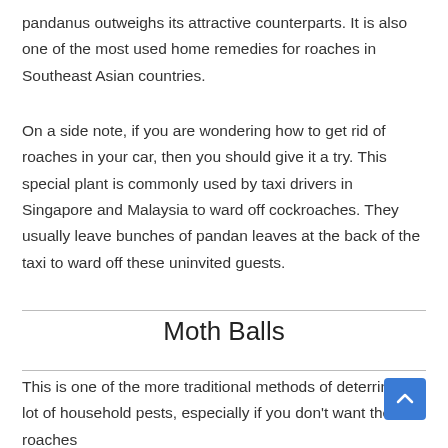pandanus outweighs its attractive counterparts. It is also one of the most used home remedies for roaches in Southeast Asian countries.
On a side note, if you are wondering how to get rid of roaches in your car, then you should give it a try. This special plant is commonly used by taxi drivers in Singapore and Malaysia to ward off cockroaches. They usually leave bunches of pandan leaves at the back of the taxi to ward off these uninvited guests.
Moth Balls
This is one of the more traditional methods of deterring a lot of household pests, especially if you don't want the roaches coming through and...